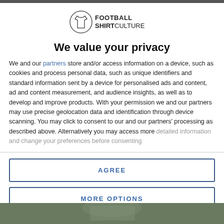[Figure (logo): Football Shirt Culture logo — circular shirt icon with FOOTBALL SHIRTCULTURE text]
We value your privacy
We and our partners store and/or access information on a device, such as cookies and process personal data, such as unique identifiers and standard information sent by a device for personalised ads and content, ad and content measurement, and audience insights, as well as to develop and improve products. With your permission we and our partners may use precise geolocation data and identification through device scanning. You may click to consent to our and our partners' processing as described above. Alternatively you may access more detailed information and change your preferences before consenting
AGREE
MORE OPTIONS
[Figure (photo): Partial photo of a football/soccer related scene at bottom of page]